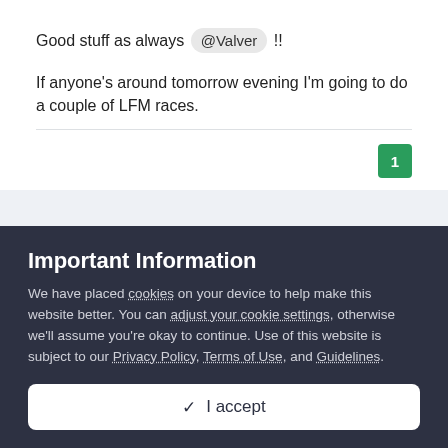Good stuff as always @Valver !!
If anyone's around tomorrow evening I'm going to do a couple of LFM races.
1
milko
Important Information
We have placed cookies on your device to help make this website better. You can adjust your cookie settings, otherwise we'll assume you're okay to continue. Use of this website is subject to our Privacy Policy, Terms of Use, and Guidelines.
✓ I accept